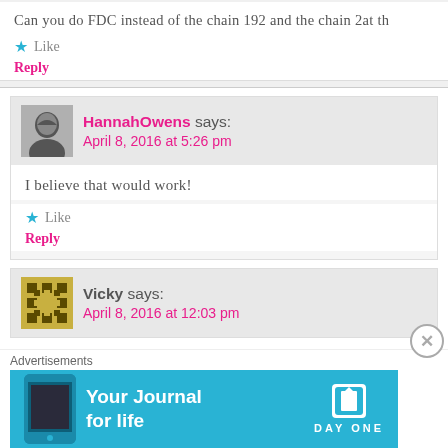Can you do FDC instead of the chain 192 and the chain 2at th
Like
Reply
HannahOwens says: April 8, 2016 at 5:26 pm
I believe that would work!
Like
Reply
Vicky says: April 8, 2016 at 12:03 pm
Advertisements
[Figure (illustration): Day One app advertisement banner with phone image, text 'Your Journal for life', and Day One logo]